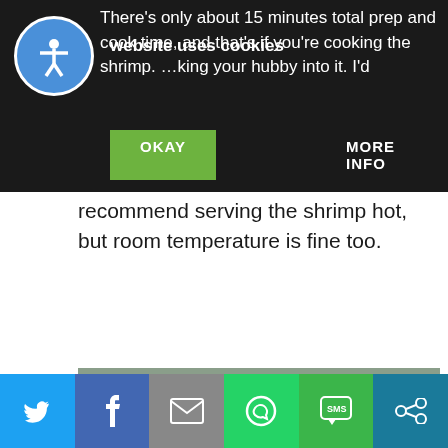This website uses cookies — OKAY | MORE INFO
There's only about 15 minutes total prep and cook time, and that's if you're cooking the shrimp. If you're handing your hubby into it. I'd recommend serving the shrimp hot, but room temperature is fine too.
[Figure (photo): Photo of grilled shrimp skewers on wooden sticks arranged on a plate next to a metal bowl containing a creamy dipping sauce garnished with fresh herbs.]
Social share buttons: Twitter, Facebook, Email, WhatsApp, SMS, Other